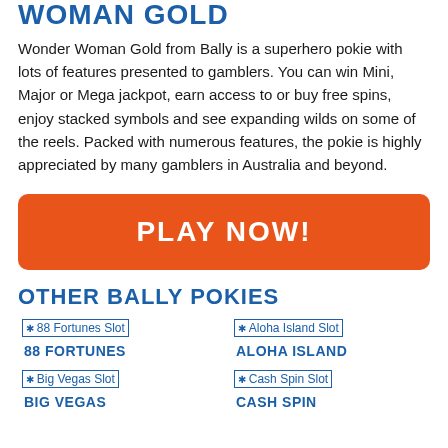WOMAN GOLD
Wonder Woman Gold from Bally is a superhero pokie with lots of features presented to gamblers. You can win Mini, Major or Mega jackpot, earn access to or buy free spins, enjoy stacked symbols and see expanding wilds on some of the reels. Packed with numerous features, the pokie is highly appreciated by many gamblers in Australia and beyond.
[Figure (other): Orange PLAY NOW! call-to-action button]
OTHER BALLY POKIES
[Figure (other): 88 Fortunes Slot image placeholder with link]
88 FORTUNES
[Figure (other): Aloha Island Slot image placeholder with link]
ALOHA ISLAND
[Figure (other): Big Vegas Slot image placeholder with link]
BIG VEGAS
[Figure (other): Cash Spin Slot image placeholder with link]
CASH SPIN